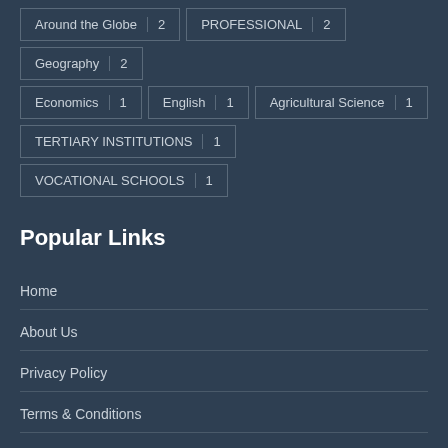Around the Globe 2
PROFESSIONAL 2
Geography 2
Economics 1
English 1
Agricultural Science 1
TERTIARY INSTITUTIONS 1
VOCATIONAL SCHOOLS 1
Popular Links
Home
About Us
Privacy Policy
Terms & Conditions
Contact